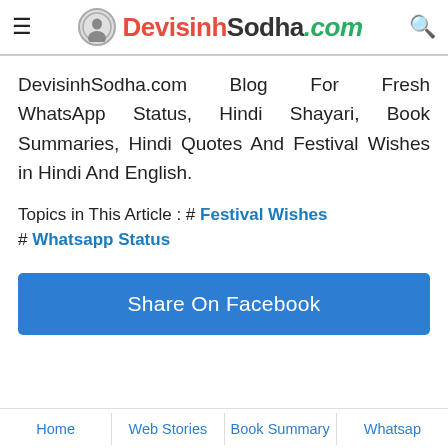DevisinhSodha.com
DevisinhSodha.com Blog For Fresh WhatsApp Status, Hindi Shayari, Book Summaries, Hindi Quotes And Festival Wishes in Hindi And English.
Topics in This Article : # Festival Wishes # Whatsapp Status
Share On Facebook
Home | Web Stories | Book Summary | Whatsap